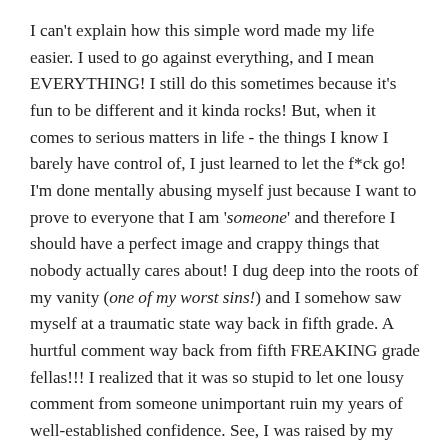I can't explain how this simple word made my life easier. I used to go against everything, and I mean EVERYTHING! I still do this sometimes because it's fun to be different and it kinda rocks! But, when it comes to serious matters in life - the things I know I barely have control of, I just learned to let the f*ck go! I'm done mentally abusing myself just because I want to prove to everyone that I am 'someone' and therefore I should have a perfect image and crappy things that nobody actually cares about! I dug deep into the roots of my vanity (one of my worst sins!) and I somehow saw myself at a traumatic state way back in fifth grade. A hurtful comment way back from fifth FREAKING grade fellas!!! I realized that it was so stupid to let one lousy comment from someone unimportant ruin my years of well-established confidence. See, I was raised by my grandparents and I maybe a bit spoiled and bratty back then. But one very important thing I have learned from my grandfather was